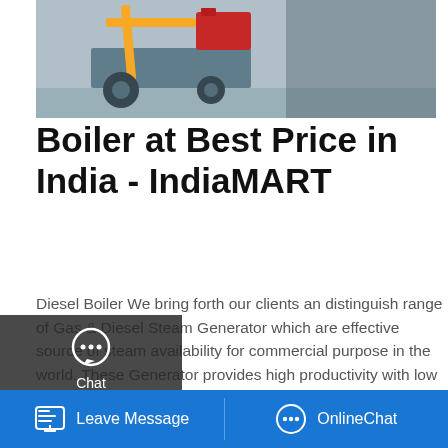[Figure (photo): Industrial boiler / steam generator machinery on a warehouse floor, with yellow pipe and red engine component visible]
Boiler at Best Price in India - IndiaMART
Diesel Boiler We bring forth our clients an distinguish range of Gas & Diesel Steam Generator which are effective source of steam availability for commercial purpose in the world. These Generator provides high productivity with low fuel consumption and maximum utilization of fuel for best efficiency.
[Figure (screenshot): Get a Quote yellow button]
[Figure (infographic): Save Stickers on WhatsApp promotional banner with phone and emoji icons, pink/purple gradient background]
Leave Message   OnlineChat